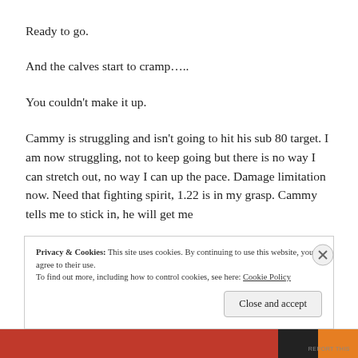Ready to go.
And the calves start to cramp…..
You couldn't make it up.
Cammy is struggling and isn't going to hit his sub 80 target. I am now struggling, not to keep going but there is no way I can stretch out, no way I can up the pace. Damage limitation now. Need that fighting spirit, 1.22 is in my grasp. Cammy tells me to stick in, he will get me
Privacy & Cookies: This site uses cookies. By continuing to use this website, you agree to their use. To find out more, including how to control cookies, see here: Cookie Policy
Close and accept